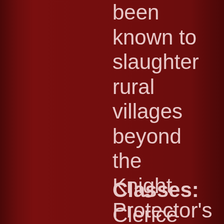been known to slaughter rural villages beyond the Knight Protector's reach.
Classes: Clerice